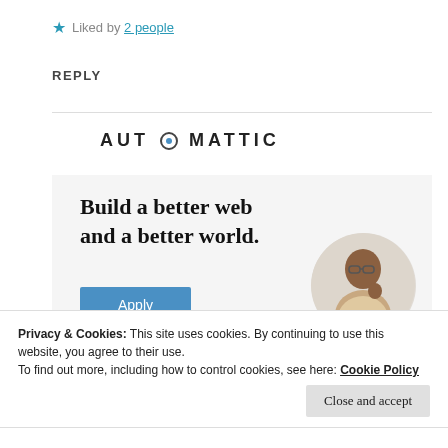★ Liked by 2 people
REPLY
[Figure (logo): Automattic logo with stylized circular O]
[Figure (infographic): Automattic job ad banner: Build a better web and a better world. with Apply button and photo of a man]
Privacy & Cookies: This site uses cookies. By continuing to use this website, you agree to their use.
To find out more, including how to control cookies, see here: Cookie Policy
Close and accept